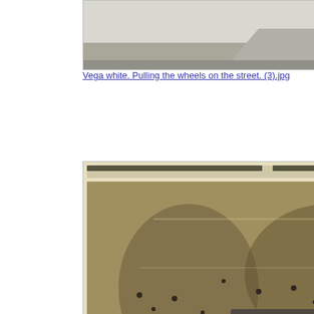[Figure (photo): Black and white photo of a car on a street, partially visible at top of page]
Vega white. Pulling the wheels on the street. (3).jpg
[Figure (photo): Sepia-toned newspaper photo showing a crowded auto show or car exhibition hall with many people and vehicles]
Vega Sun news paper (2).jpg
[Figure (photo): Color photo of a white station wagon/panel van parked in front of a brick house with a lawn]